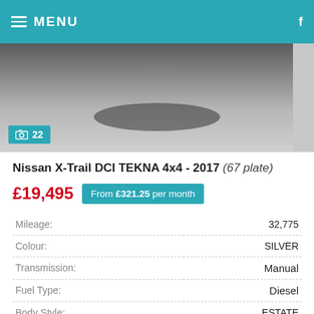MENU  f
[Figure (photo): Partial view of a silver Nissan X-Trail car from rear angle, showing wheel and undercarriage area. Photo badge shows 22 images.]
Nissan X-Trail DCI TEKNA 4x4 - 2017 (67 plate)
£19,495  From £321.25 per month
|  |  |
| --- | --- |
| Mileage: | 32,775 |
| Colour: | SILVER |
| Transmission: | Manual |
| Fuel Type: | Diesel |
| Body Style: | ESTATE |
| First Reg Date: | 30/9/2017 |
| Fi... | Amount of... |
| --- | --- |
| Monthly | Sale |  | Amount of... | Fiat... | Monthly | End... |